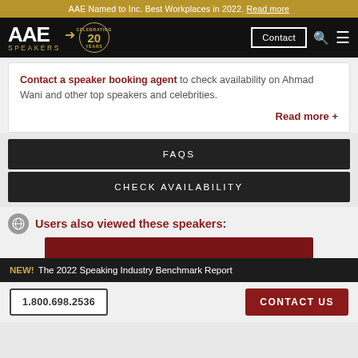AAE Named to Inc. Best Workplaces in 2022. Read more
[Figure (logo): AAE Speakers logo with '20 Years Celebrating' badge on black navigation bar with Contact button, search icon, and menu icon]
Contact a speaker booking agent to check availability on Ahmad Wani and other top speakers and celebrities.
Read more +
FAQS
CHECK AVAILABILITY
Users also viewed these speakers:
NEW! The 2022 Speaking Industry Benchmark Report
1.800.698.2536   CONTACT US